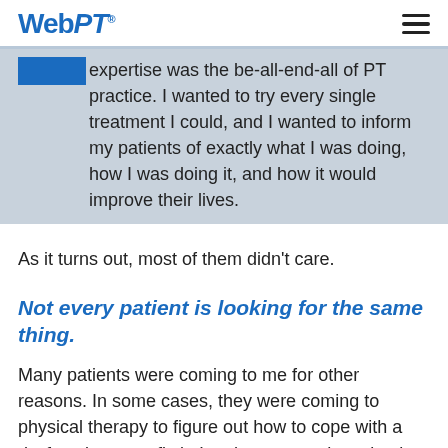WebPT
clinical expertise was the be-all-end-all of PT practice. I wanted to try every single treatment I could, and I wanted to inform my patients of exactly what I was doing, how I was doing it, and how it would improve their lives.
As it turns out, most of them didn't care.
Not every patient is looking for the same thing.
Many patients were coming to me for other reasons. In some cases, they were coming to physical therapy to figure out how to cope with a dysfunction—not fix it. In other cases, they simply wanted the encouragement and human touch that a PT provides.